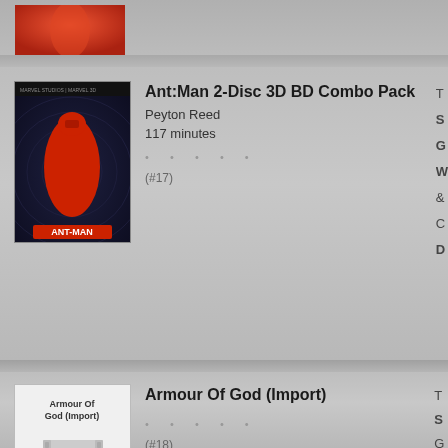[Figure (photo): Partial movie poster visible at top of page, clipped]
[Figure (photo): Ant-Man 2-Disc 3D BD Combo Pack movie poster showing the Ant-Man character]
Ant:Man 2-Disc 3D BD Combo Pack
Peyton Reed
117 minutes
(#17)
[Figure (photo): Armour Of God (Import) placeholder movie poster]
Armour Of God (Import)
(#18)